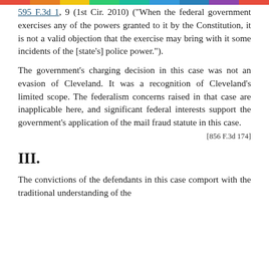595 F.3d 1, 9 (1st Cir. 2010) ("When the federal government exercises any of the powers granted to it by the Constitution, it is not a valid objection that the exercise may bring with it some incidents of the [state's] police power.").
The government's charging decision in this case was not an evasion of Cleveland. It was a recognition of Cleveland's limited scope. The federalism concerns raised in that case are inapplicable here, and significant federal interests support the government's application of the mail fraud statute in this case.
[856 F.3d 174]
III.
The convictions of the defendants in this case comport with the traditional understanding of the